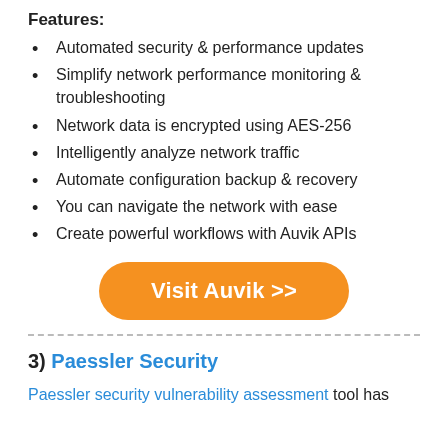Features:
Automated security & performance updates
Simplify network performance monitoring & troubleshooting
Network data is encrypted using AES-256
Intelligently analyze network traffic
Automate configuration backup & recovery
You can navigate the network with ease
Create powerful workflows with Auvik APIs
[Figure (other): Orange rounded button labeled 'Visit Auvik >>']
3) Paessler Security
Paessler security vulnerability assessment tool has